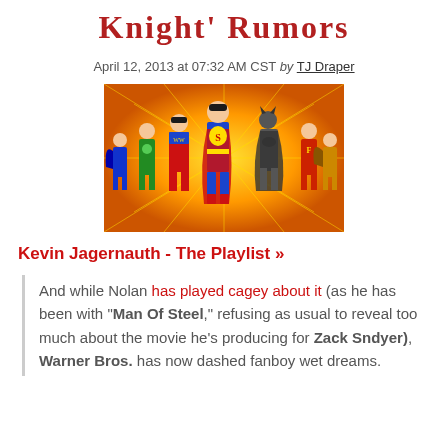Knight' Rumors
April 12, 2013 at 07:32 AM CST by TJ Draper
[Figure (illustration): Illustration of Justice League superheroes including Superman, Wonder Woman, Batman, Green Lantern, The Flash, and others against a golden sunburst background]
Kevin Jagernauth - The Playlist »
And while Nolan has played cagey about it (as he has been with "Man Of Steel," refusing as usual to reveal too much about the movie he's producing for Zack Sndyer), Warner Bros. has now dashed fanboy wet dreams.